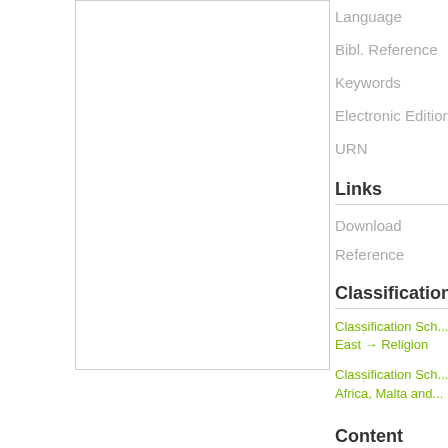[Figure (other): White rectangular image placeholder with a light gray border]
Language
Bibl. Reference
Keywords
Electronic Edition
URN
Links
Download
Reference
Classification
Classification Sch... East → Religion
Classification Sch... Africa, Malta and...
Content
Contents of this R...